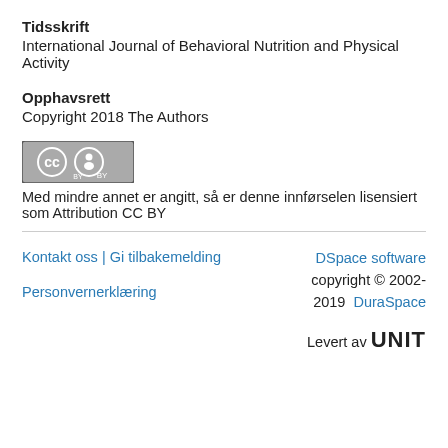Tidsskrift
International Journal of Behavioral Nutrition and Physical Activity
Opphavsrett
Copyright 2018 The Authors
[Figure (logo): Creative Commons Attribution (CC BY) license badge]
Med mindre annet er angitt, så er denne innførselen lisensiert som Attribution CC BY
Kontakt oss | Gi tilbakemelding
Personvernerklæring
DSpace software copyright © 2002-2019 DuraSpace
[Figure (logo): UNIT logo]